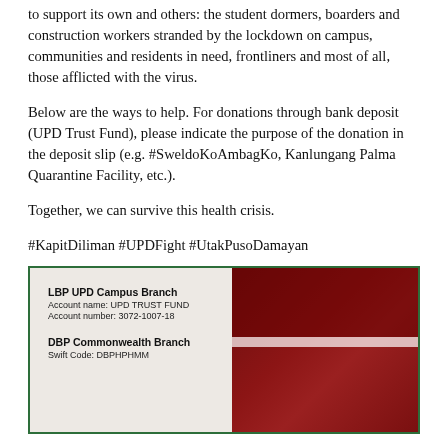to support its own and others: the student dormers, boarders and construction workers stranded by the lockdown on campus, communities and residents in need, frontliners and most of all, those afflicted with the virus.
Below are the ways to help. For donations through bank deposit (UPD Trust Fund), please indicate the purpose of the donation in the deposit slip (e.g. #SweldoKoAmbagKo, Kanlungang Palma Quarantine Facility, etc.).
Together, we can survive this health crisis.
#KapitDiliman #UPDFight #UtakPusoDamayan
[Figure (infographic): Bank deposit information card with two columns: left side shows LBP UPD Campus Branch account details (Account name: UPD TRUST FUND, Account number: 3072-1007-18) and DBP Commonwealth Branch (Swift Code: DBPHPHMM); right side is a dark red background with a white horizontal stripe.]